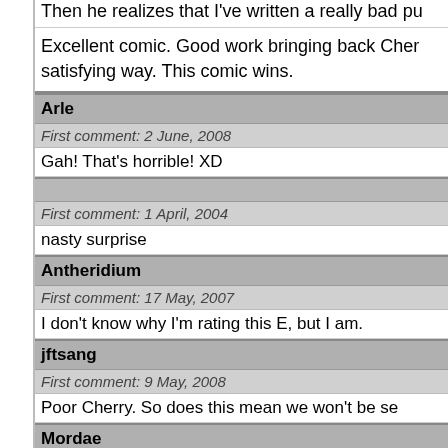Then he realizes that I've written a really bad pu
Excellent comic. Good work bringing back Cher satisfying way. This comic wins.
Arle
First comment: 2 June, 2008
Gah! That's horrible! XD
First comment: 1 April, 2004
nasty surprise
Antheridium
First comment: 17 May, 2007
I don't know why I'm rating this E, but I am.
jftsang
First comment: 9 May, 2008
Poor Cherry. So does this mean we won't be se
Mordae
First comment: 11 May, 2007
I'm sure our favorite mutated poultry has as ma have been embarassing, though. :)
Vins
First comment: 4 April, 2008
Eat -> Tin